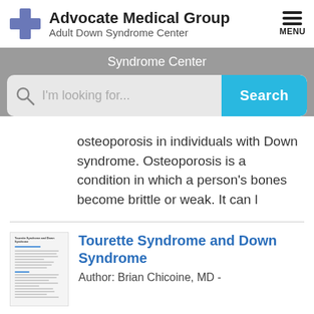[Figure (logo): Advocate Medical Group logo with blue cross icon and text 'Advocate Medical Group / Adult Down Syndrome Center']
Syndrome Center
[Figure (screenshot): Search bar with magnifying glass icon, placeholder text 'I'm looking for...', and a blue 'Search' button]
osteoporosis in individuals with Down syndrome. Osteoporosis is a condition in which a person's bones become brittle or weak. It can l
[Figure (screenshot): Thumbnail image of an article page]
Tourette Syndrome and Down Syndrome
Author: Brian Chicoine, MD -